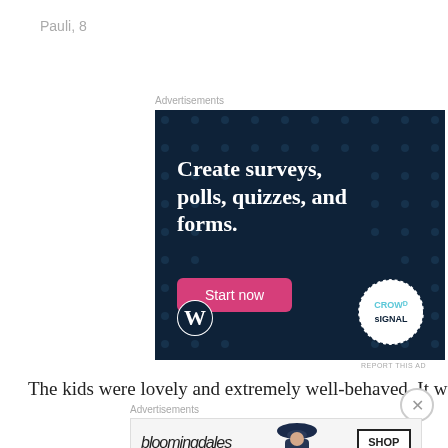Pauli, 8
Advertisements
[Figure (illustration): Advertisement for Crowdsignal/WordPress: dark navy background with polka dot pattern. Large white bold text reads 'Create surveys, polls, quizzes, and forms.' with a pink 'Start now' button. WordPress logo bottom-left. Crowdsignal circular badge bottom-right.]
The kids were lovely and extremely well-behaved. It was
Advertisements
[Figure (illustration): Advertisement for Bloomingdale's. Shows 'bloomingdales' logo text, 'View Today's Top Deals!' sub-text, a woman wearing a large hat, and a 'SHOP NOW >' button on the right.]